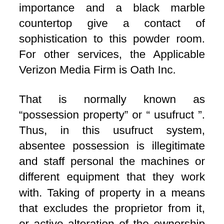importance and a black marble countertop give a contact of sophistication to this powder room. For other services, the Applicable Verizon Media Firm is Oath Inc.
That is normally known as “possession property” or “ usufruct ”. Thus, in this usufruct system, absentee possession is illegitimate and staff personal the machines or different equipment that they work with. Taking of property in a means that excludes the proprietor from it, or active alteration of the ownership of property. This huge double vainness ups the ante with even more storage by including storage towers.